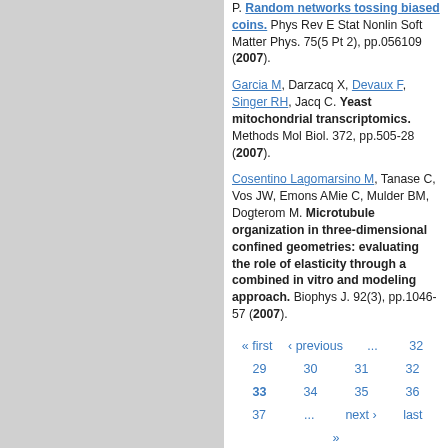P. Random networks tossing biased coins. Phys Rev E Stat Nonlin Soft Matter Phys. 75(5 Pt 2), pp.056109 (2007).
Garcia M, Darzacq X, Devaux F, Singer RH, Jacq C. Yeast mitochondrial transcriptomics. Methods Mol Biol. 372, pp.505-28 (2007).
Cosentino Lagomarsino M, Tanase C, Vos JW, Emons AMie C, Mulder BM, Dogterom M. Microtubule organization in three-dimensional confined geometries: evaluating the role of elasticity through a combined in vitro and modeling approach. Biophys J. 92(3), pp.1046-57 (2007).
« first  ‹ previous  ...  29  30  31  32  33  34  35  36  37  ...  next ›  last »